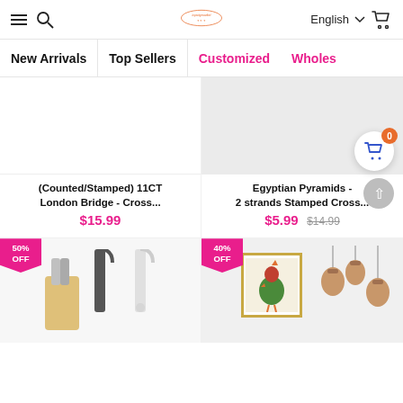Navigation bar with menu, search, logo, English language selector, and cart icon
New Arrivals
Top Sellers
Customized
Wholes
(Counted/Stamped) 11CT London Bridge - Cross... $15.99
Egyptian Pyramids - 2 strands Stamped Cross... $5.99 $14.99
[Figure (screenshot): Product image area, white/light background, cross stitch item]
[Figure (screenshot): Product image area, light grey background, cross stitch item]
[Figure (screenshot): Bottom left product: spaghetti tongs and umbrella hooks, 50% OFF badge]
[Figure (screenshot): Bottom right product: rooster cross stitch and pendant lamps, 40% OFF badge]